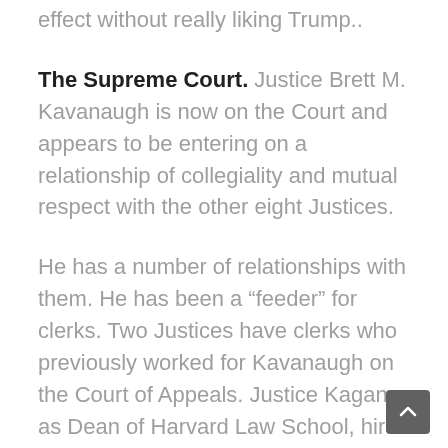effect without really liking Trump..
The Supreme Court. Justice Brett M. Kavanaugh is now on the Court and appears to be entering on a relationship of collegiality and mutual respect with the other eight Justices.
He has a number of relationships with them. He has been a “feeder” for clerks. Two Justices have clerks who previously worked for Kavanaugh on the Court of Appeals. Justice Kagan, as Dean of Harvard Law School, hired him to teach there. Both he and Justice Gorsuch clerked for Justice Kennedy. And Justices Thomas, Alito, Sotomayor and Kavanaugh went to Yale Law School, a small